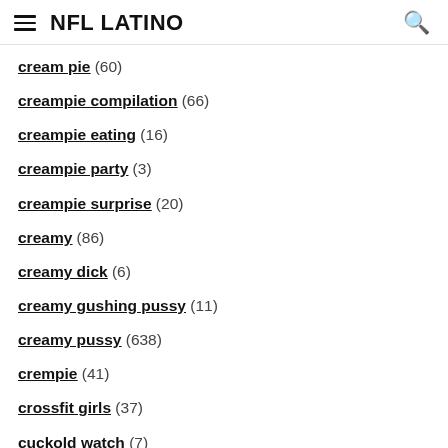NFL LATINO
cream pie (60)
creampie compilation (66)
creampie eating (16)
creampie party (3)
creampie surprise (20)
creamy (86)
creamy dick (6)
creamy gushing pussy (11)
creamy pussy (638)
crempie (41)
crossfit girls (37)
cuckold watch (7)